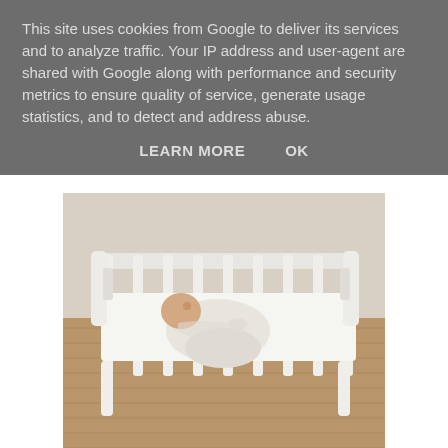This site uses cookies from Google to deliver its services and to analyze traffic. Your IP address and user-agent are shared with Google along with performance and security metrics to ensure quality of service, generate usage statistics, and to detect and address abuse.
LEARN MORE    OK
[Figure (photo): A swaddled newborn baby lying in a white wooden crib on a white mattress, photographed from above at a slight angle. The crib has vertical white slats and legs. The floor beneath appears to be a woven rattan or natural fiber rug.]
The Gro-snug is super easy to use and you don't even have to do any folding or wrapping like you would with a swaddle blanket. Parents simply zip the baby into the Gro-snug